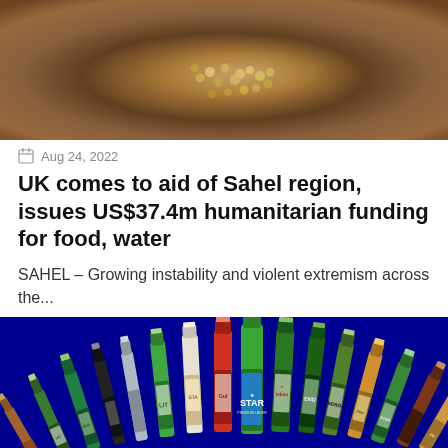[Figure (photo): Close-up photo of hands holding grain/seeds, warm brown tones]
Aug 24, 2022
UK comes to aid of Sahel region, issues US$37.4m humanitarian funding for food, water
SAHEL – Growing instability and violent extremism across the...
[Figure (photo): Collection of beer bottles arranged in a fan/arc on a dark blue background, including brands such as Star, Gulden, Lite, Heineken, and others]
Aug 24, 2022